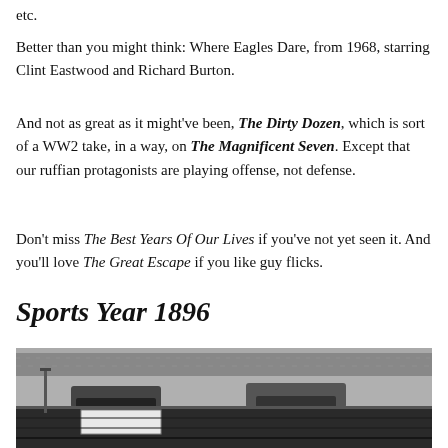etc.
Better than you might think: Where Eagles Dare, from 1968, starring Clint Eastwood and Richard Burton.
And not as great as it might've been, The Dirty Dozen, which is sort of a WW2 take, in a way, on The Magnificent Seven. Except that our ruffian protagonists are playing offense, not defense.
Don't miss The Best Years Of Our Lives if you've not yet seen it. And you'll love The Great Escape if you like guy flicks.
Sports Year 1896
[Figure (photo): Black and white photograph showing what appears to be a sports scene, possibly rowing or racing, with vehicles or boats visible and spectators or trees in the background.]